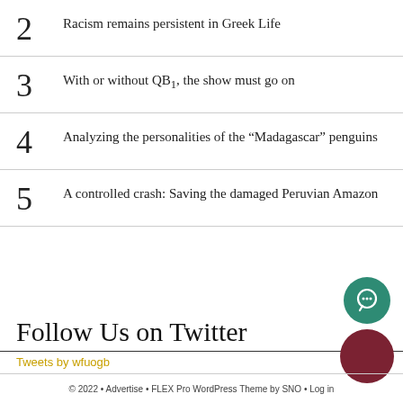2 Racism remains persistent in Greek Life
3 With or without QB1, the show must go on
4 Analyzing the personalities of the “Madagascar” penguins
5 A controlled crash: Saving the damaged Peruvian Amazon
Follow Us on Twitter
Tweets by wfuogb
© 2022 • Advertise • FLEX Pro WordPress Theme by SNO • Log in